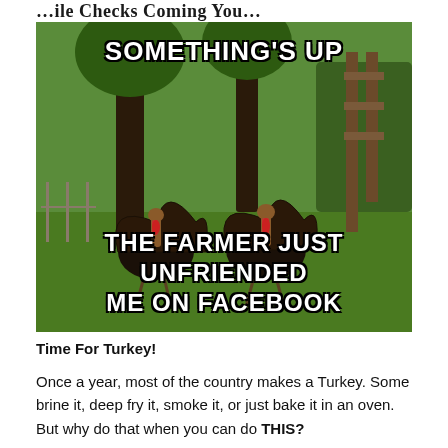…While Checks Coming You…
[Figure (photo): Meme photo of two wild turkeys with fanned tails standing on a green lawn near trees, with white bold text overlay reading: 'SOMETHING'S UP' at the top and 'THE FARMER JUST UNFRIENDED ME ON FACEBOOK' at the bottom.]
Time For Turkey!
Once a year, most of the country makes a Turkey. Some brine it, deep fry it, smoke it, or just bake it in an oven. But why do that when you can do THIS?